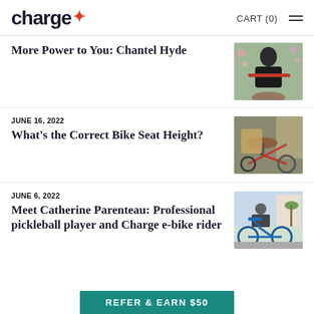charge CART (0)
More Power to You: Chantel Hyde
[Figure (photo): Woman in black clothing holding handlebars of a red e-bike outdoors with flowers in background]
JUNE 16, 2022
What's the Correct Bike Seat Height?
[Figure (photo): Close-up of a brown leather bike seat with red bicycle frames in background, urban setting]
JUNE 6, 2022
Meet Catherine Parenteau: Professional pickleball player and Charge e-bike rider
[Figure (photo): Woman in helmet riding a blue e-bike on a suburban street with palm trees in background]
REFER & EARN $50